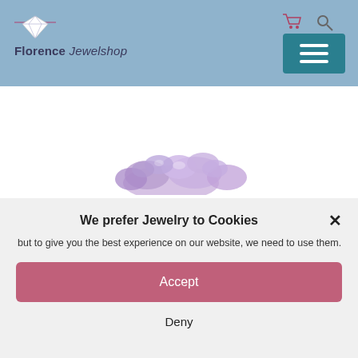[Figure (screenshot): Florence Jewelshop website header with logo (diamond icon and text), shopping cart icon, search icon, and teal hamburger menu button on a light blue background]
[Figure (photo): Partial view of purple/lavender gemstone jewelry pieces scattered together]
We prefer Jewelry to Cookies
but to give you the best experience on our website, we need to use them.
Accept
Deny